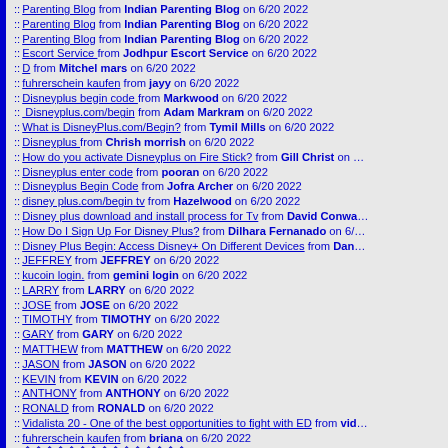:: Parenting Blog from Indian Parenting Blog on 6/20 2022
:: Parenting Blog from Indian Parenting Blog on 6/20 2022
:: Parenting Blog from Indian Parenting Blog on 6/20 2022
:: Escort Service from Jodhpur Escort Service on 6/20 2022
:: D from Mitchel mars on 6/20 2022
:: fuhrerschein kaufen from jayy on 6/20 2022
:: Disneyplus begin code from Markwood on 6/20 2022
:: Disneyplus.com/begin from Adam Markram on 6/20 2022
:: What is DisneyPlus.com/Begin? from Tymil Mills on 6/20 2022
:: Disneyplus from Chrish morrish on 6/20 2022
:: How do you activate Disneyplus on Fire Stick? from Gill Christ on ...
:: Disneyplus enter code from pooran on 6/20 2022
:: Disneyplus Begin Code from Jofra Archer on 6/20 2022
:: disney plus.com/begin tv from Hazelwood on 6/20 2022
:: Disney plus download and install process for Tv from David Conway...
:: How Do I Sign Up For Disney Plus? from Dilhara Fernanado on 6/...
:: Disney Plus Begin: Access Disney+ On Different Devices from Dan...
:: JEFFREY from JEFFREY on 6/20 2022
:: kucoin login. from gemini login on 6/20 2022
:: LARRY from LARRY on 6/20 2022
:: JOSE from JOSE on 6/20 2022
:: TIMOTHY from TIMOTHY on 6/20 2022
:: GARY from GARY on 6/20 2022
:: MATTHEW from MATTHEW on 6/20 2022
:: JASON from JASON on 6/20 2022
:: KEVIN from KEVIN on 6/20 2022
:: ANTHONY from ANTHONY on 6/20 2022
:: RONALD from RONALD on 6/20 2022
:: Vidalista 20 - One of the best opportunities to fight with ED from vid...
:: fuhrerschein kaufen from briana on 6/20 2022
&#xE253;&#xE14C;&#xE12C;&#xE13A;&#xE12C;&#xE244;...